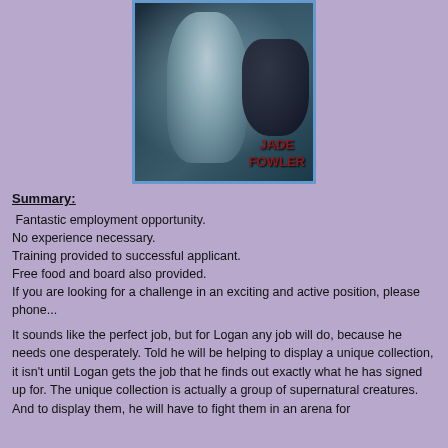[Figure (illustration): Book cover for a novel by Jade Fowler. Shows a young woman with curly hair in a white dress against a dark, moody background with a black wolf and moonlight. Author name 'JADE FOWLER' in dark red text.]
Summary:
Fantastic employment opportunity.
No experience necessary.
Training provided to successful applicant.
Free food and board also provided.
If you are looking for a challenge in an exciting and active position, please phone...
It sounds like the perfect job, but for Logan any job will do, because he needs one desperately. Told he will be helping to display a unique collection, it isn't until Logan gets the job that he finds out exactly what he has signed up for. The unique collection is actually a group of supernatural creatures. And to display them, he will have to fight them in an arena for